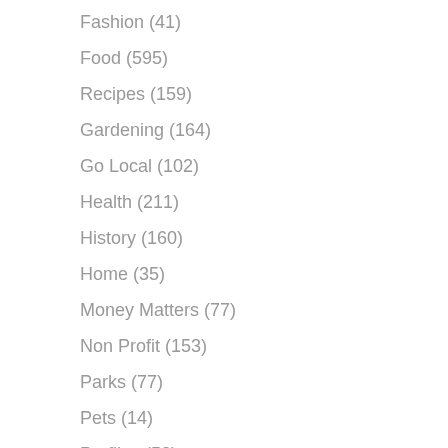Fashion (41)
Food (595)
Recipes (159)
Gardening (164)
Go Local (102)
Health (211)
History (160)
Home (35)
Money Matters (77)
Non Profit (153)
Parks (77)
Pets (14)
Profiles (52)
Real Estate (32)
Recreation (101)
Restaurants (171)
Weather (53)